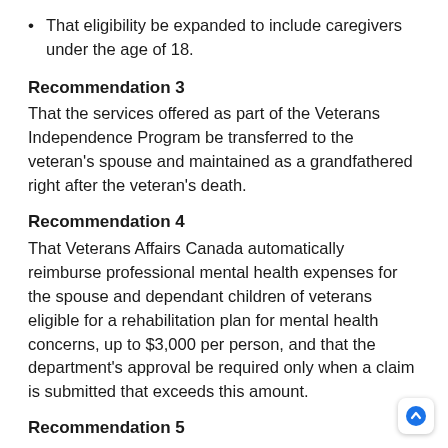That eligibility be expanded to include caregivers under the age of 18.
Recommendation 3
That the services offered as part of the Veterans Independence Program be transferred to the veteran's spouse and maintained as a grandfathered right after the veteran's death.
Recommendation 4
That Veterans Affairs Canada automatically reimburse professional mental health expenses for the spouse and dependant children of veterans eligible for a rehabilitation plan for mental health concerns, up to $3,000 per person, and that the department's approval be required only when a claim is submitted that exceeds this amount.
Recommendation 5
That Veterans Affairs Canada ensure that every departmental client, whether or not they are case-managed, have a dedicated employee responsible for their file, be given direct access by phone or email to that employee, and that a group be given